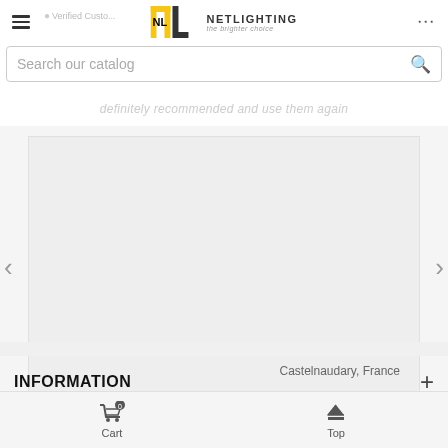Netlighting – the brighter choice
Search our catalog
Great service quick and arrived at my delivery recommended and use them again
Castelnaudary, France
[Figure (logo): Reviews.io logo with star icon]
INFORMATION
Cart  Top